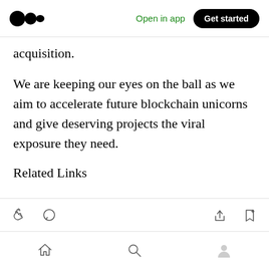Medium logo | Open in app | Get started
acquisition.
We are keeping our eyes on the ball as we aim to accelerate future blockchain unicorns and give deserving projects the viral exposure they need.
Related Links
Website | Telegram | TikTok | Twitter
Bottom toolbar and navigation icons